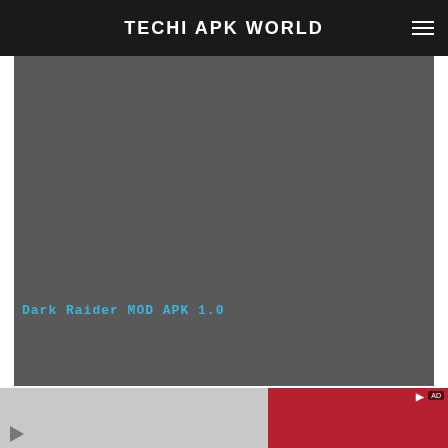TECHI APK WORLD
[Figure (screenshot): Dark grey rectangular image area for Dark Raider MOD APK 1.0 game screenshot with overlay caption text]
Dark Raider MOD APK 1.0
[Figure (photo): Bottom advertisement banner showing a person against a red background with AD marker]